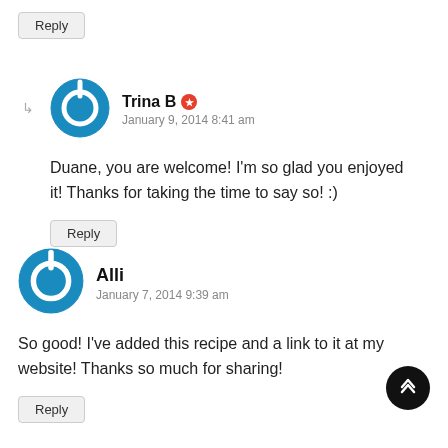Reply
[Figure (illustration): Blue power button circle icon for user Trina B]
Trina B
January 9, 2014 8:41 am
Duane, you are welcome! I'm so glad you enjoyed it! Thanks for taking the time to say so! :)
Reply
[Figure (illustration): Blue power button circle icon for user Alli]
Alli
January 7, 2014 9:39 am
So good! I've added this recipe and a link to it at my website! Thanks so much for sharing!
Reply